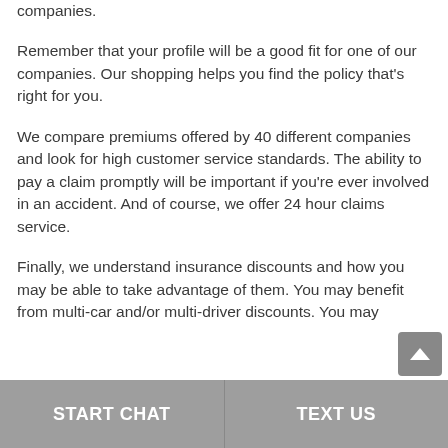companies.
Remember that your profile will be a good fit for one of our companies. Our shopping helps you find the policy that's right for you.
We compare premiums offered by 40 different companies and look for high customer service standards. The ability to pay a claim promptly will be important if you're ever involved in an accident. And of course, we offer 24 hour claims service.
Finally, we understand insurance discounts and how you may be able to take advantage of them. You may benefit from multi-car and/or multi-driver discounts. You may
START CHAT | TEXT US